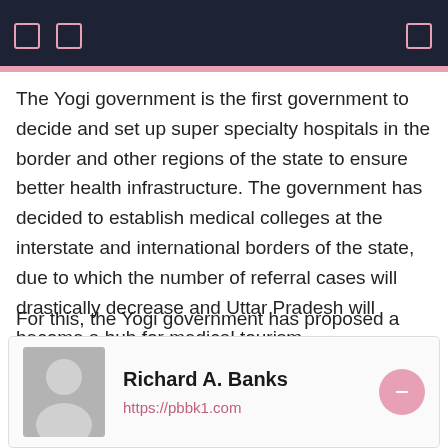The Yogi government is the first government to decide and set up super specialty hospitals in the border and other regions of the state to ensure better health infrastructure. The government has decided to establish medical colleges at the interstate and international borders of the state, due to which the number of referral cases will drastically decrease and Uttar Pradesh will become a hub for medical tourism.
For this, the Yogi government has proposed a fund of Rs 25 crore in the budget for the financial year 2022-2023.
Richard A. Banks
https://pbbk1.com